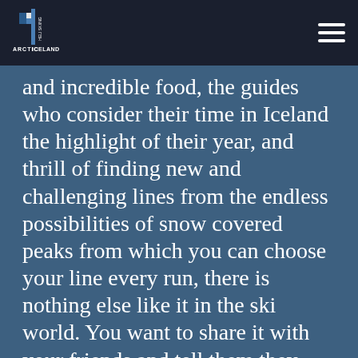Arctic Heli Skiing Iceland
and incredible food, the guides who consider their time in Iceland the highlight of their year, and thrill of finding new and challenging lines from the endless possibilities of snow covered peaks from which you can choose your line every run, there is nothing else like it in the ski world. You want to share it with your friends and tell them they must experience for themselves, but then you are torn and don't want to tell the world about your secret